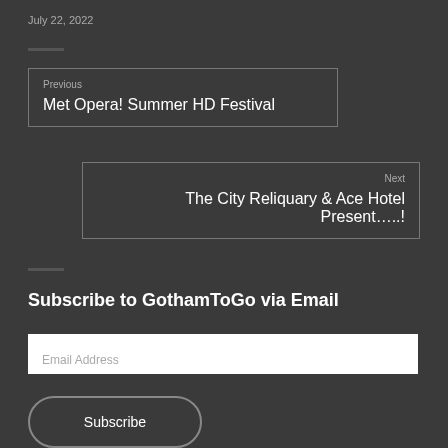July 22, 2022
Previous
Met Opera! Summer HD Festival
Next
The City Reliquary & Ace Hotel Present…..!
Subscribe to GothamToGo via Email
Email Address
Subscribe